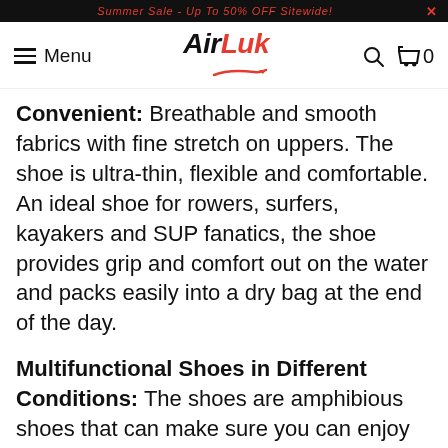Summer Sale - Up To 50% OFF Sitewide!
Menu | AirLuk | 🔍 | 🛒 0
Convenient: Breathable and smooth fabrics with fine stretch on uppers. The shoe is ultra-thin, flexible and comfortable. An ideal shoe for rowers, surfers, kayakers and SUP fanatics, the shoe provides grip and comfort out on the water and packs easily into a dry bag at the end of the day.
Multifunctional Shoes in Different Conditions: The shoes are amphibious shoes that can make sure you can enjoy your life on land or in water. You can use the aqua shoes in surfing, ca... kayaking, camping, zip-lining, ... jumping, river trekking, paddle rafting,
[Figure (screenshot): Chat with us button overlay in black rounded rectangle]